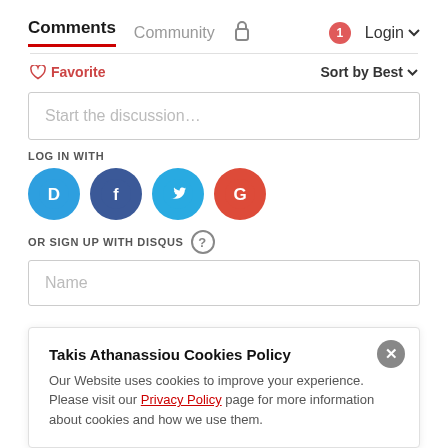Comments  Community  🔒  🔴1  Login ▾
♡ Favorite    Sort by Best ▾
Start the discussion…
LOG IN WITH
[Figure (other): Social login icons: Disqus (D), Facebook (f), Twitter (bird), Google (G) as colored circles]
OR SIGN UP WITH DISQUS ?
Name
Takis Athanassiou Cookies Policy
Our Website uses cookies to improve your experience. Please visit our Privacy Policy page for more information about cookies and how we use them.